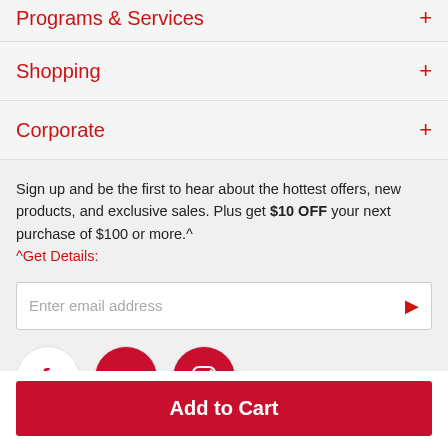Programs & Services +
Shopping +
Corporate +
Sign up and be the first to hear about the hottest offers, new products, and exclusive sales. Plus get $10 OFF your next purchase of $100 or more.^ ^Get Details:
[Figure (screenshot): Email address input field with red arrow/submit button]
[Figure (infographic): Social media icons: Facebook, YouTube, Instagram in circular white badges]
Add to Cart